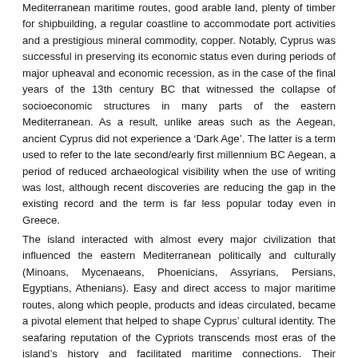Mediterranean maritime routes, good arable land, plenty of timber for shipbuilding, a regular coastline to accommodate port activities and a prestigious mineral commodity, copper. Notably, Cyprus was successful in preserving its economic status even during periods of major upheaval and economic recession, as in the case of the final years of the 13th century BC that witnessed the collapse of socioeconomic structures in many parts of the eastern Mediterranean. As a result, unlike areas such as the Aegean, ancient Cyprus did not experience a 'Dark Age'. The latter is a term used to refer to the late second/early first millennium BC Aegean, a period of reduced archaeological visibility when the use of writing was lost, although recent discoveries are reducing the gap in the existing record and the term is far less popular today even in Greece.
The island interacted with almost every major civilization that influenced the eastern Mediterranean politically and culturally (Minoans, Mycenaeans, Phoenicians, Assyrians, Persians, Egyptians, Athenians). Easy and direct access to major maritime routes, along which people, products and ideas circulated, became a pivotal element that helped to shape Cyprus' cultural identity. The seafaring reputation of the Cypriots transcends most eras of the island's history and facilitated maritime connections. Their enhanced mobility resulted in enhanced connectivity through which Cyprus became a key player and point of influence across the eastern